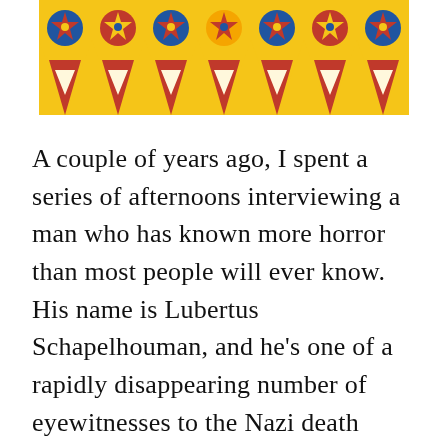[Figure (illustration): Decorative banner illustration showing a row of stylized figures wearing yellow and red robes/cloaks with blue and red star emblems on top, against a yellow background. The figures appear festive or ceremonial.]
A couple of years ago, I spent a series of afternoons interviewing a man who has known more horror than most people will ever know. His name is Lubertus Schapelhouman, and he's one of a rapidly disappearing number of eyewitnesses to the Nazi death camps, a man who survived the Holocaust that took the lives of more than 6 million Jews and uncounted numbers of other